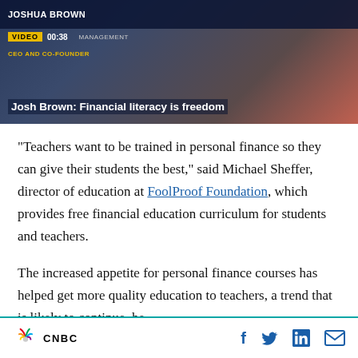[Figure (screenshot): CNBC video thumbnail showing Joshua Brown with text 'Josh Brown: Financial literacy is freedom', VIDEO badge, 00:38 timestamp]
“Teachers want to be trained in personal finance so they can give their students the best,” said Michael Sheffer, director of education at FoolProof Foundation, which provides free financial education curriculum for students and teachers.
The increased appetite for personal finance courses has helped get more quality education to teachers, a trend that is likely to continue, he
CNBC [social icons: Facebook, Twitter, LinkedIn, Email]